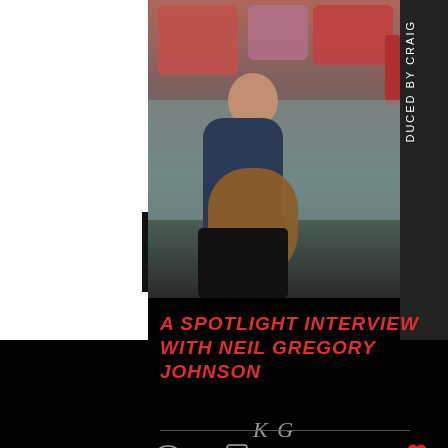[Figure (photo): A man sitting on a couch playing acoustic guitar, wearing a denim jacket and black jeans. There are red, pink, and white throw pillows visible. The image appears to be an album or artist profile photo. A partially visible text or signature appears at the bottom of the image. To the right, a dark vertical strip with rotated white text reading 'DUCED BY CRAIG' is visible.]
A SPOTLIGHT INTERVIEW WITH NEIL GREGORY JOHNSON
4 views · 0 comments · 1 like